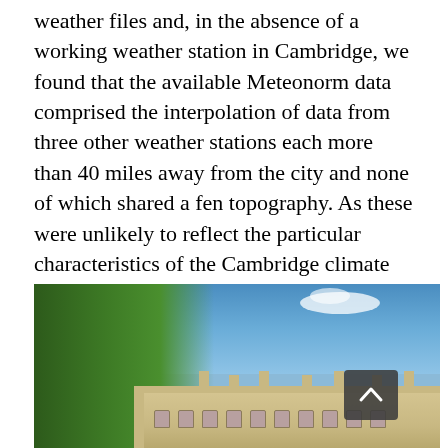weather files and, in the absence of a working weather station in Cambridge, we found that the available Meteonorm data comprised the interpolation of data from three other weather stations each more than 40 miles away from the city and none of which shared a fen topography. As these were unlikely to reflect the particular characteristics of the Cambridge climate and thus invalidate the modelling, the college paid to install its own weather station on the roof of a nearby building.
[Figure (photo): Exterior photo of a Cambridge college building with Gothic/classical stone architecture, multiple chimneys, large trees on the left side, and a blue sky with light clouds in the background.]